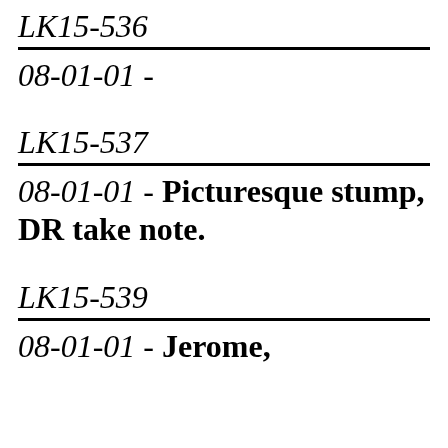LK15-536
08-01-01 -
LK15-537
08-01-01 - Picturesque stump, DR take note.
LK15-539
08-01-01 - Jerome,